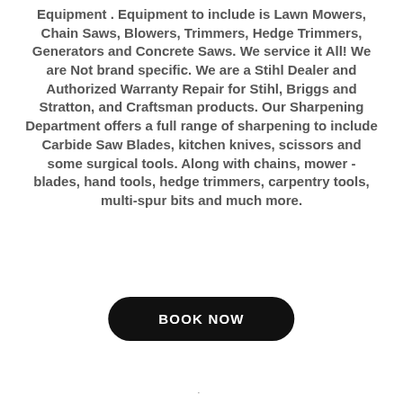Equipment . Equipment to include is Lawn Mowers, Chain Saws, Blowers, Trimmers, Hedge Trimmers, Generators and Concrete Saws. We service it All! We are Not brand specific. We are a Stihl Dealer and Authorized Warranty Repair for Stihl, Briggs and Stratton, and Craftsman products. Our Sharpening Department offers a full range of sharpening to include Carbide Saw Blades, kitchen knives, scissors and some surgical tools. Along with chains, mower - blades, hand tools, hedge trimmers, carpentry tools, multi-spur bits and much more.
[Figure (other): A black rounded rectangle button with white bold text reading 'BOOK NOW']